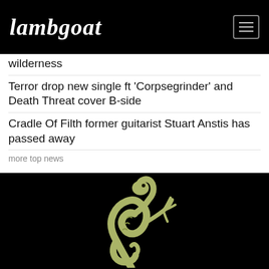Lambgoat
wilderness
Terror drop new single ft 'Corpsegrinder' and Death Threat cover B-side
Cradle Of Filth former guitarist Stuart Anstis has passed away
more top news
[Figure (illustration): A pale green / yellow illustrated creature (serpentine dragon or monster) on a black background, partially visible at the bottom of the page.]